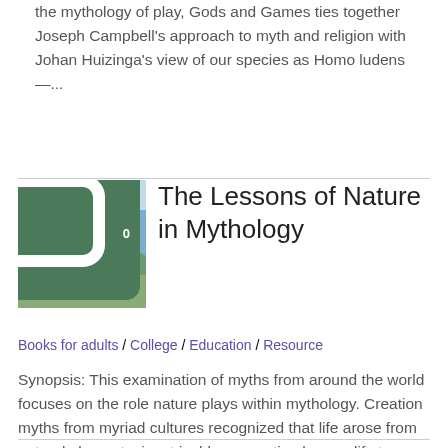the mythology of play, Gods and Games ties together Joseph Campbell's approach to myth and religion with Johan Huizinga's view of our species as Homo ludens —...
[Figure (photo): Book cover thumbnail for 'The Lessons of Nature in Mythology' showing ancient Greek ruins with a comment badge showing 0 comments]
The Lessons of Nature in Mythology
Books for adults / College / Education / Resource
Synopsis: This examination of myths from around the world focuses on the role nature plays within mythology. Creation myths from myriad cultures recognized that life arose from natural elements, inextricably connecting human life to...